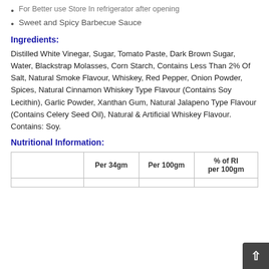For Better use Store In refrigerator after opening
Sweet and Spicy Barbecue Sauce
Ingredients:
Distilled White Vinegar, Sugar, Tomato Paste, Dark Brown Sugar, Water, Blackstrap Molasses, Corn Starch, Contains Less Than 2% Of Salt, Natural Smoke Flavour, Whiskey, Red Pepper, Onion Powder, Spices, Natural Cinnamon Whiskey Type Flavour (Contains Soy Lecithin), Garlic Powder, Xanthan Gum, Natural Jalapeno Type Flavour (Contains Celery Seed Oil), Natural & Artificial Whiskey Flavour. Contains: Soy.
Nutritional Information:
|  | Per 34gm | Per 100gm | % of RI per 100gm |
| --- | --- | --- | --- |